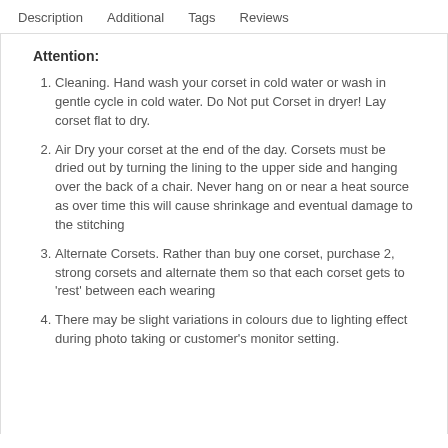Description   Additional   Tags   Reviews
Attention:
Cleaning. Hand wash your corset in cold water or wash in gentle cycle in cold water. Do Not put Corset in dryer! Lay corset flat to dry.
Air Dry your corset at the end of the day. Corsets must be dried out by turning the lining to the upper side and hanging over the back of a chair. Never hang on or near a heat source as over time this will cause shrinkage and eventual damage to the stitching
Alternate Corsets. Rather than buy one corset, purchase 2, strong corsets and alternate them so that each corset gets to 'rest' between each wearing
There may be slight variations in colours due to lighting effect during photo taking or customer's monitor setting.